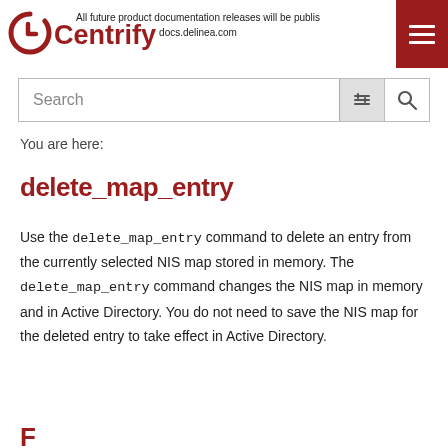All future product documentation releases will be published at docs.delinea.com
delete_map_entry
You are here:
Use the delete_map_entry command to delete an entry from the currently selected NIS map stored in memory. The delete_map_entry command changes the NIS map in memory and in Active Directory. You do not need to save the NIS map for the deleted entry to take effect in Active Directory.
F...